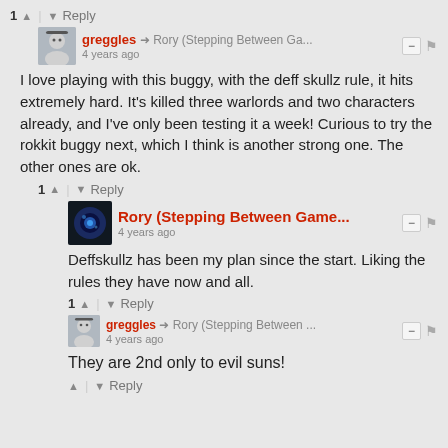1 ↑ | ↓ Reply
greggles → Rory (Stepping Between Ga...  4 years ago
I love playing with this buggy, with the deff skullz rule, it hits extremely hard. It's killed three warlords and two characters already, and I've only been testing it a week! Curious to try the rokkit buggy next, which I think is another strong one. The other ones are ok.
1 ↑ | ↓ Reply
Rory (Stepping Between Game...  4 years ago
Deffskullz has been my plan since the start. Liking the rules they have now and all.
1 ↑ | ↓ Reply
greggles → Rory (Stepping Between ...  4 years ago
They are 2nd only to evil suns!
↑ | ↓ Reply